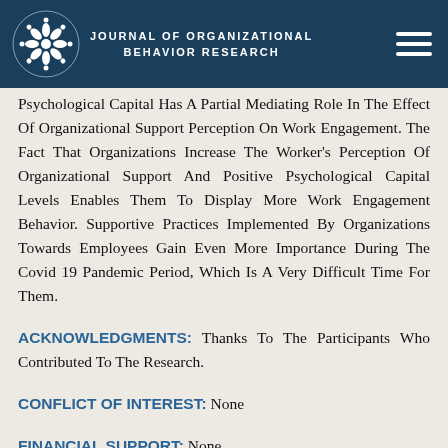JOURNAL OF ORGANIZATIONAL BEHAVIOR RESEARCH
Psychological Capital Has A Partial Mediating Role In The Effect Of Organizational Support Perception On Work Engagement. The Fact That Organizations Increase The Worker's Perception Of Organizational Support And Positive Psychological Capital Levels Enables Them To Display More Work Engagement Behavior. Supportive Practices Implemented By Organizations Towards Employees Gain Even More Importance During The Covid 19 Pandemic Period, Which Is A Very Difficult Time For Them.
ACKNOWLEDGMENTS: Thanks To The Participants Who Contributed To The Research.
CONFLICT OF INTEREST: None
FINANCIAL SUPPORT: None